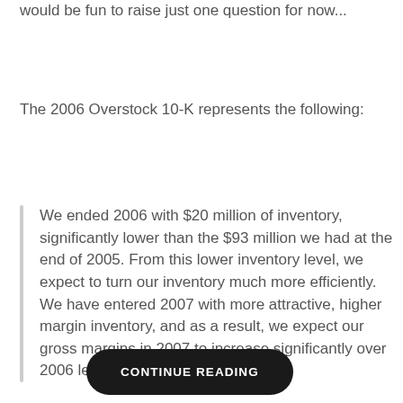would be fun to raise just one question for now...
The 2006 Overstock 10-K represents the following:
We ended 2006 with $20 million of inventory, significantly lower than the $93 million we had at the end of 2005. From this lower inventory level, we expect to turn our inventory much more efficiently. We have entered 2007 with more attractive, higher margin inventory, and as a result, we expect our gross margins in 2007 to increase significantly over 2006 levels.
CONTINUE READING